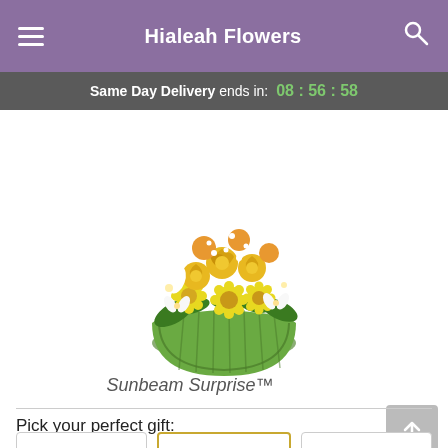Hialeah Flowers
Same Day Delivery ends in: 08 : 56 : 58
[Figure (photo): A floral arrangement called Sunbeam Surprise featuring yellow roses, yellow daisies, white alstroemeria, and greenery in a round green glass vase.]
Sunbeam Surprise™
Pick your perfect gift: